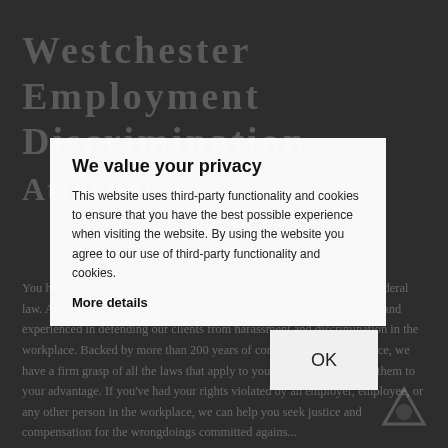Westchester Employment Discrimination Attorney
[Figure (other): Cookie consent modal overlay with 'We value your privacy' heading, body text about third-party cookies, 'More details' link, and OK button]
You have rights as an employee that are legally protected by state and federal law. At La Pietra & Krieger, our employment lawyers are highly skilled and experienced in defending our clients from harassment and discrimination in the workplace. Backed by more than 200 years of combined legal experience, we have a firm grasp of all the laws that apply to you and how we can use them to your advantage. If you've had your rights violated by an employer, employee, or any other person in the workplace, we can help you seek justice and compensation for the wrongdoings committed agains...